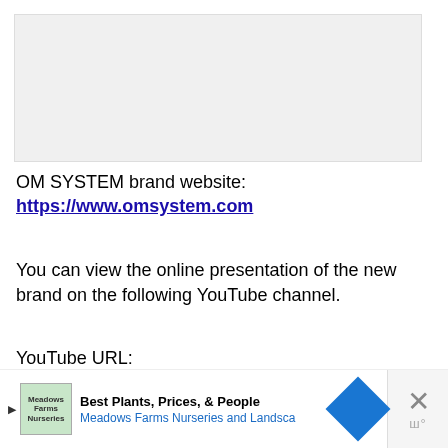[Figure (photo): Top image area, appears to be a partially visible product or brand image with light gray background]
OM SYSTEM brand website:
https://www.omsystem.com
You can view the online presentation of the new brand on the following YouTube channel.
YouTube URL:
www.youtube.com/OMSYSTEM.global
[Figure (screenshot): Advertisement banner: Best Plants, Prices, & People - Meadows Farms Nurseries and Landscape, with logo, blue navigation arrow, and close button]